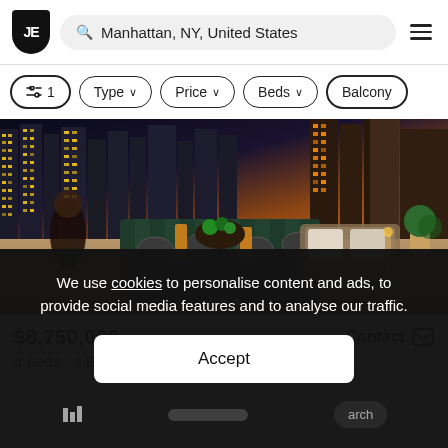JE | Manhattan, NY, United States
⇌ 1  Type ∨  Price ∨  Beds ∨  Balcony
[Figure (photo): Luxury rooftop terrace with outdoor dining table set for dinner, wicker sofa seating area, potted topiary plants, and a dramatic nighttime Manhattan skyline in the background with glowing skyscrapers at dusk.]
$8,750,000
Contact
4 Beds · 4 Baths
We use cookies to personalise content and ads, to provide social media features and to analyse our traffic.
Accept